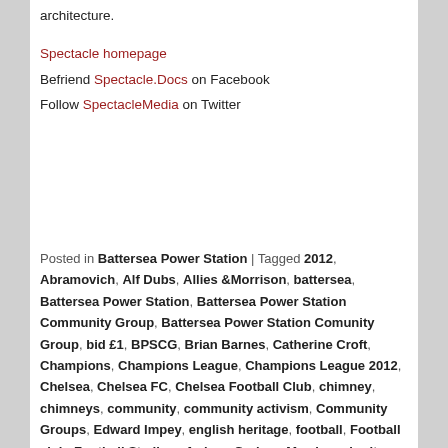architecture.
Spectacle homepage
Befriend Spectacle.Docs on Facebook
Follow SpectacleMedia on Twitter
Posted in Battersea Power Station | Tagged 2012, Abramovich, Alf Dubs, Allies &Morrison, battersea, Battersea Power Station, Battersea Power Station Community Group, Battersea Power Station Comunity Group, bid £1, BPSCG, Brian Barnes, Catherine Croft, Champions, Champions League, Champions League 2012, Chelsea, Chelsea FC, Chelsea Football Club, chimney, chimneys, community, community activism, Community Groups, Edward Impey, english heritage, football, Football club, Football Stadium, forbes, Graham Morrison, heritage, HLF, John Broome, Kay Andrews, Keith Garner, London, Marcus Binney, Norther Line extension, October, Paul Appleton, planning application, Planning Practices, power